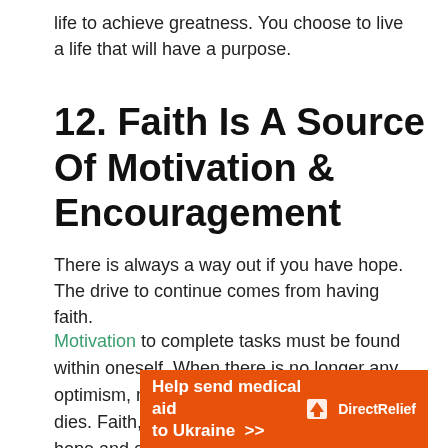life to achieve greatness. You choose to live a life that will have a purpose.
12. Faith Is A Source Of Motivation & Encouragement
There is always a way out if you have hope. The drive to continue comes from having faith.
Motivation to complete tasks must be found within oneself. When there is no longer any optimism, motivation to go forward usually dies. Faith, on the other hand, generates hope and encourages people to live and carry on with their lives.
[Figure (other): Orange advertisement banner for Direct Relief: 'Help send medical aid to Ukraine >>' with Direct Relief logo on the right.]